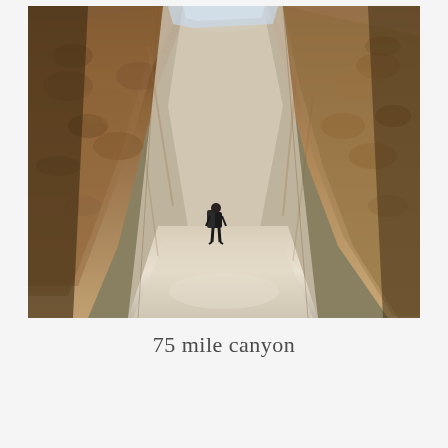[Figure (photo): A hiker with a backpack stands at the bottom of a narrow slot canyon with tall reddish-brown and tan sandstone walls rising steeply on both sides. The canyon floor is pale and sandy. The walls show layered erosion patterns and the sky is visible as a sliver at the top.]
75 mile canyon